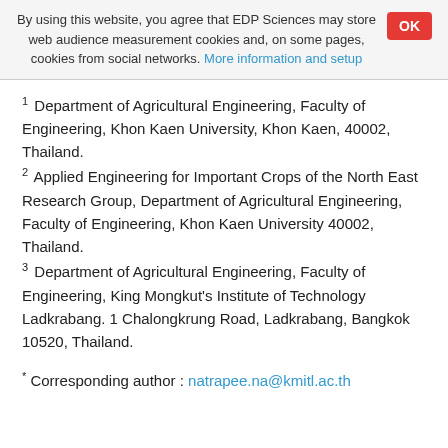By using this website, you agree that EDP Sciences may store web audience measurement cookies and, on some pages, cookies from social networks. More information and setup
1 Department of Agricultural Engineering, Faculty of Engineering, Khon Kaen University, Khon Kaen, 40002, Thailand.
2 Applied Engineering for Important Crops of the North East Research Group, Department of Agricultural Engineering, Faculty of Engineering, Khon Kaen University 40002, Thailand.
3 Department of Agricultural Engineering, Faculty of Engineering, King Mongkut's Institute of Technology Ladkrabang. 1 Chalongkrung Road, Ladkrabang, Bangkok 10520, Thailand.
* Corresponding author : natrapee.na@kmitl.ac.th